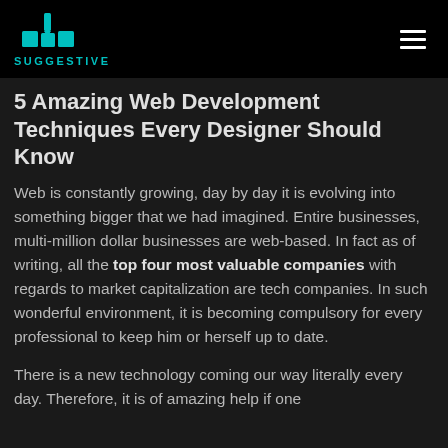Suggestive
5 Amazing Web Development Techniques Every Designer Should Know
Web is constantly growing, day by day it is evolving into something bigger that we had imagined. Entire businesses, multi-million dollar businesses are web-based. In fact as of writing, all the top four most valuable companies with regards to market capitalization are tech companies. In such wonderful environment, it is becoming compulsory for every professional to keep him or herself up to date.
There is a new technology coming our way literally every day. Therefore, it is of amazing help if one